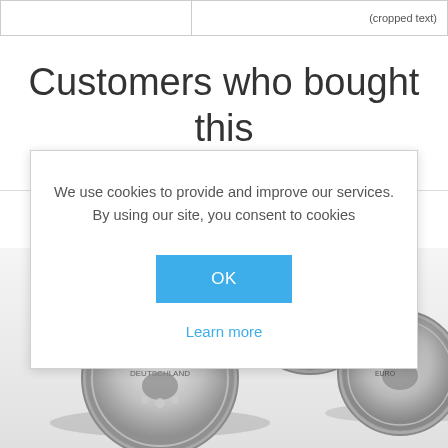|  | (cropped text) |
Customers who bought this item also bought
We use cookies to provide and improve our services. By using our site, you consent to cookies
OK
Learn more
[Figure (photo): Three silver German 10 Euro commemorative coins in plastic capsules, photographed from above on a white background.]